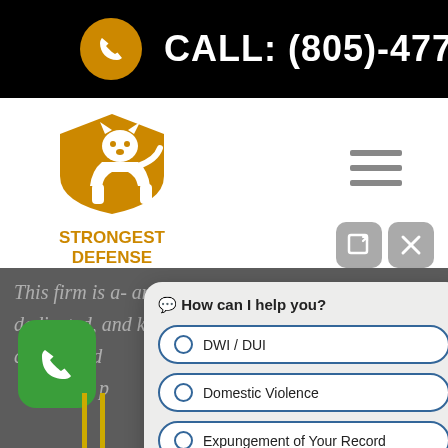CALL: (805)-477-0070
[Figure (logo): Strongest Defense logo — golden shield with white panther head, text STRONGEST DEFENSE in gold]
[Figure (screenshot): Chatbot widget overlay with heading 'How can I help you?' and radio button options: DWI / DUI, Domestic Violence, Expungement of Your Record, and a Scroll button]
This firm is a... and right so dedicated, and kind, as well as cellent and ... le in their p...